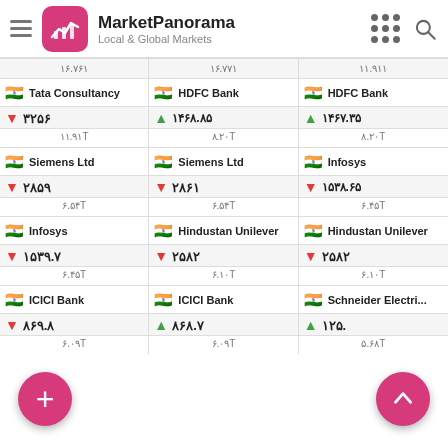MarketPanorama — Local & Global Markets
| Col1 | Col2 | Col3 |
| --- | --- | --- |
| ۱۶.۷۶۱ | ۱۶.۷۷۱ | ۱۱.۹۱۱ |
| 🇮🇳 Tata Consultancy | 🇮🇳 HDFC Bank | 🇮🇳 HDFC Bank |
| ▼ ۳۲۵۶ | ▲ ۱۴۶۸.۸۵ | ▲ ۱۴۶۷.۳۵ |
| ۱۱.۹۱T | ۸.۲۰T | ۸.۲۰T |
| 🇮🇳 Siemens Ltd | 🇮🇳 Siemens Ltd | 🇮🇳 Infosys |
| ▼ ۲۸۵۹ | ▼ ۲۸۶۱ | ▼ ۱۵۳۸.۶۵ |
| ۶.۵۴T | ۶.۵۴T | ۶.۴۵T |
| 🇮🇳 Infosys | 🇮🇳 Hindustan Unilever | 🇮🇳 Hindustan Unilever |
| ▼ ۱۵۳۹.۷ | ▼ ۲۵۸۲ | ▼ ۲۵۸۲ |
| ۶.۴۵T | ۶.۱۰T | ۶.۱۰T |
| 🇮🇳 ICICI Bank | 🇮🇳 ICICI Bank | 🇮🇳 Schneider Electri... |
| ▼ ۸۶۹.۸ | ▲ ۸۶۸.۷ | ▲ ۱۲۵. |
| ۶.۰۹T | ۶.۰۹T | ۵.۶۸T |